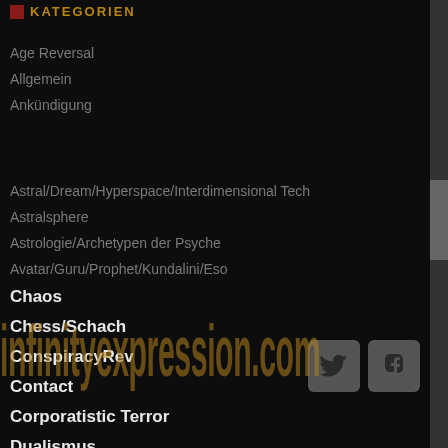KATEGORIEN
Age Reversal
Allgemein
Ankündigung
[Figure (other): infinityexpression.com watermark text overlaid on page]
Astral/Dream/Hyperspace/Interdimensional Tech
Astralsphere
Astrologie/Archetypen der Psyche
Avatar/Guru/Prophet/Kundalini/Eso
Chaos
Chess/Schach
ConspiracyRev
Contact
Corporatistic Terror
Dualismus
Entertainment/Media
Eternal Transformation